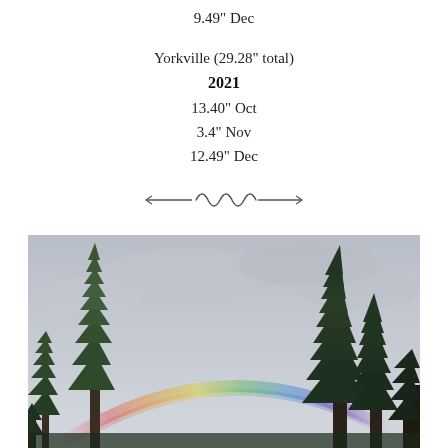9.49" Dec
Yorkville (29.28" total)
2021
13.40" Oct
3.4" Nov
12.49" Dec
[Figure (illustration): Decorative ornamental divider]
[Figure (photo): Photograph of tall evergreen pine trees under an overcast sky with a rainbow arc visible between the trees]